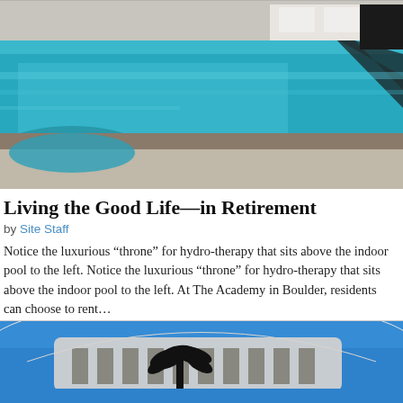[Figure (photo): Indoor swimming pool with aqua blue water, a curved hot tub/spa to the left, glass panels, white lounge chairs in the background, and a dark chair on the right.]
Living the Good Life—in Retirement
by Site Staff
Notice the luxurious “throne” for hydro-therapy that sits above the indoor pool to the left. Notice the luxurious “throne” for hydro-therapy that sits above the indoor pool to the left. At The Academy in Boulder, residents can choose to rent…
[Figure (photo): Modern curved building exterior with blue sky background and silhouette of a palm tree in front.]